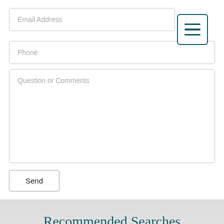Email Address
Phone
Question or Comments
Send
Recommended Searches
Popular Searches
Search By Location